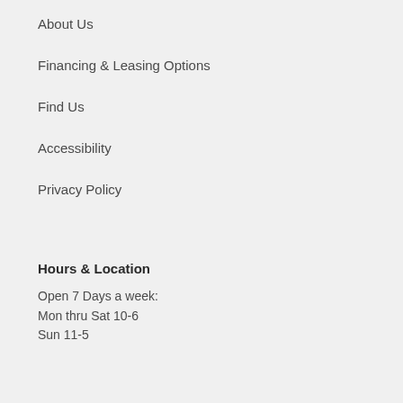About Us
Financing & Leasing Options
Find Us
Accessibility
Privacy Policy
Hours & Location
Open 7 Days a week:
Mon thru Sat 10-6
Sun 11-5